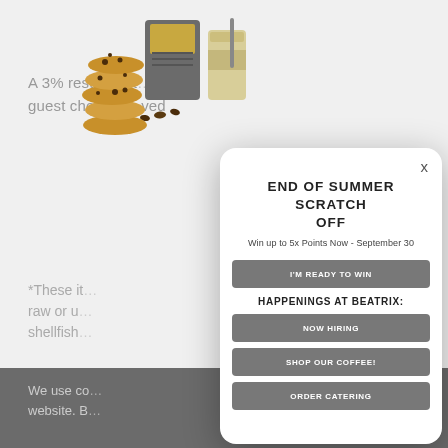A 3% restaurant to all guest checks. ved
*These it raw or u shellfish
We use co website. B
[Figure (illustration): Stack of chocolate chip cookies with coffee bag and iced coffee glass illustration]
END OF SUMMER SCRATCH OFF
Win up to 5x Points Now - September 30
I'M READY TO WIN
HAPPENINGS AT BEATRIX:
NOW HIRING
SHOP OUR COFFEE!
ORDER CATERING